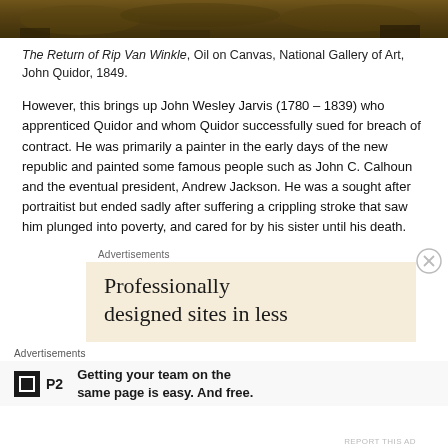[Figure (photo): Top strip of a painting showing dark earthy tones — The Return of Rip Van Winkle]
The Return of Rip Van Winkle, Oil on Canvas, National Gallery of Art, John Quidor, 1849.
However, this brings up John Wesley Jarvis (1780 – 1839) who apprenticed Quidor and whom Quidor successfully sued for breach of contract. He was primarily a painter in the early days of the new republic and painted some famous people such as John C. Calhoun and the eventual president, Andrew Jackson. He was a sought after portraitist but ended sadly after suffering a crippling stroke that saw him plunged into poverty, and cared for by his sister until his death.
Advertisements
[Figure (screenshot): Advertisement banner with beige background showing text: Professionally designed sites in less]
Advertisements
[Figure (screenshot): Advertisement: P2 logo with text — Getting your team on the same page is easy. And free.]